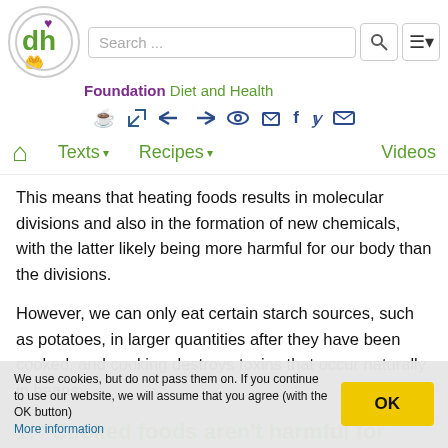Foundation Diet and Health — navigation header with search, icons, and nav links
This means that heating foods results in molecular divisions and also in the formation of new chemicals, with the latter likely being more harmful for our body than the divisions.
However, we can only eat certain starch sources, such as potatoes, in larger quantities after they have been cooked, and cooking destroys toxins that occur naturally in beans.
1. "Cooked foods aren't harmful for our body"
We use cookies, but do not pass them on. If you continue to use our website, we will assume that you agree (with the OK button) More information
... many people would object and say that cooked foods aren't harmful for...